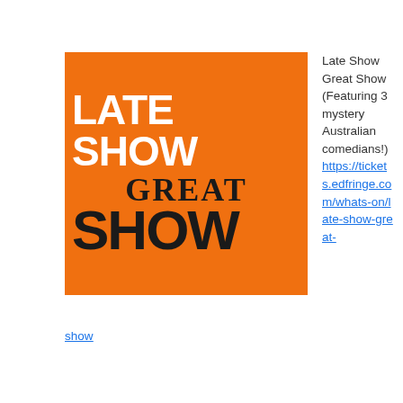[Figure (illustration): Orange square logo with white bold text 'LATE SHOW' on top, dark bold serif text 'GREAT' in middle, and dark bold text 'SHOW' at bottom]
Late Show Great Show (Featuring 3 mystery Australian comedians!) https://tickets.edfringe.com/whats-on/late-show-great-show